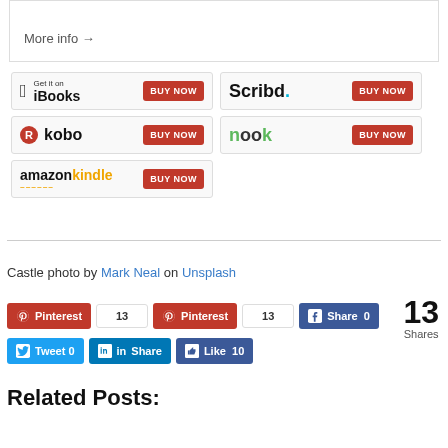More info →
[Figure (screenshot): Row of buy now buttons for iBooks, Scribd, Kobo, Nook, and Amazon Kindle]
Castle photo by Mark Neal on Unsplash
[Figure (screenshot): Social share buttons: Pinterest (13), Pinterest (13), Facebook Share (0), Tweet 0, LinkedIn Share, Facebook Like 10; total 13 Shares]
Related Posts: